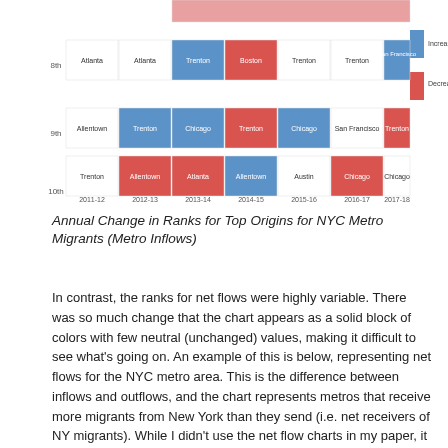[Figure (table-as-image): Partial bump chart / ranked heatmap showing Annual Change in Ranks for Top Origins for NYC Metro Migrants (Metro Inflows). Rows are ranks 8th, 9th, 10th. Columns are years 2011-12 through 2017-18. Colored cells (blue=increased, red=decreased, white=unchanged) show city names: Atlanta, Trenton, Boston, San Francisco, Allentown, Chicago, Austin, etc.]
Annual Change in Ranks for Top Origins for NYC Metro Migrants (Metro Inflows)
In contrast, the ranks for net flows were highly variable. There was so much change that the chart appears as a solid block of colors with few neutral (unchanged) values, making it difficult to see what's going on. An example of this is below, representing net flows for the NYC metro area. This is the difference between inflows and outflows, and the chart represents metros that receive more migrants from New York than they send (i.e. net receivers of NY migrants). While I didn't use the net flow charts in my paper, it was still worth generating as it made it clear to me that net flow ranks fluctuate quite a bit, which was